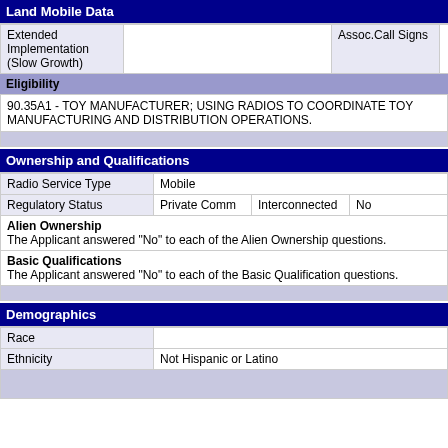Land Mobile Data
| Extended Implementation (Slow Growth) |  | Assoc.Call Signs |  |
| --- | --- | --- | --- |
|   |   |   |   |
Eligibility
90.35A1 - TOY MANUFACTURER; USING RADIOS TO COORDINATE TOY MANUFACTURING AND DISTRIBUTION OPERATIONS.
Ownership and Qualifications
| Radio Service Type | Mobile |
| --- | --- |
| Regulatory Status | Private Comm | Interconnected | No |
Alien Ownership
The Applicant answered "No" to each of the Alien Ownership questions.
Basic Qualifications
The Applicant answered "No" to each of the Basic Qualification questions.
Demographics
| Race |  |
| --- | --- |
| Ethnicity | Not Hispanic or Latino |